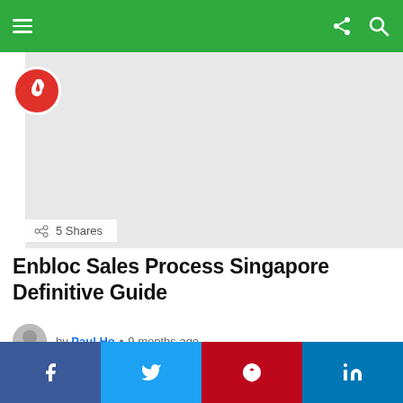[Figure (other): Hero image placeholder (light gray rectangle) with red flame logo circle in top-left corner]
5 Shares
Enbloc Sales Process Singapore Definitive Guide
by Paul Ho • 9 months ago
[Figure (other): Second article preview image placeholder (light gray) with red flame logo circle]
f  t  p  in